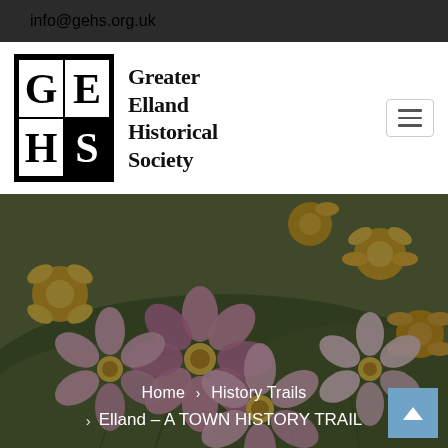info@gehs.org.uk
[Figure (logo): Greater Elland Historical Society logo: black square with GE/HS letters in bold serif font, white on black, next to organization name text]
[Figure (photo): Close-up photo of pink and yellow flowers (cosmos/anemones) with blurred green background, used as hero banner image with dark overlay, breadcrumb navigation showing: Home > History Trails > Elland – A TOWN HISTORY TRAIL]